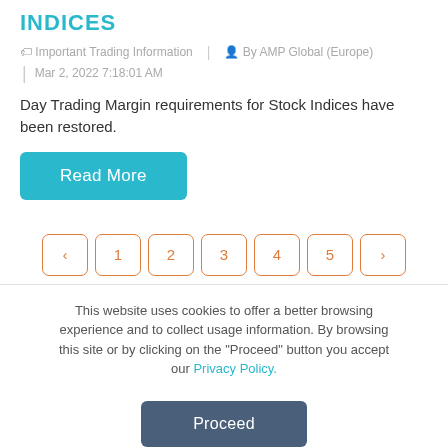INDICES
Important Trading Information  |  By AMP Global (Europe)
Mar 2, 2022 7:18:01 AM
Day Trading Margin requirements for Stock Indices have been restored.
Read More
< 1 2 3 4 5 >
This website uses cookies to offer a better browsing experience and to collect usage information. By browsing this site or by clicking on the "Proceed" button you accept our Privacy Policy.
Proceed